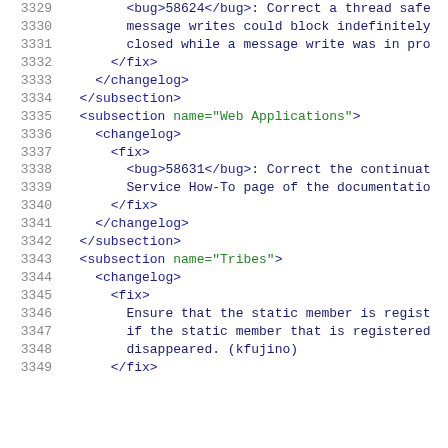Code listing lines 3329-3349, XML changelog content
3329: <bug>58624</bug>: Correct a thread safe
3330: message writes could block indefinitely
3331: closed while a message write was in pro
3332: </fix>
3333: </changelog>
3334: </subsection>
3335: <subsection name="Web Applications">
3336: <changelog>
3337: <fix>
3338: <bug>58631</bug>: Correct the continuat
3339: Service How-To page of the documentatio
3340: </fix>
3341: </changelog>
3342: </subsection>
3343: <subsection name="Tribes">
3344: <changelog>
3345: <fix>
3346: Ensure that the static member is regist
3347: if the static member that is registered
3348: disappeared. (kfujino)
3349: </fix>